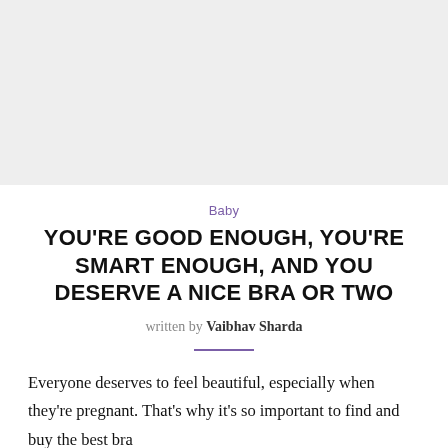[Figure (photo): Light grey placeholder image area at the top of the page]
Baby
YOU'RE GOOD ENOUGH, YOU'RE SMART ENOUGH, AND YOU DESERVE A NICE BRA OR TWO
written by Vaibhav Sharda
Everyone deserves to feel beautiful, especially when they're pregnant. That's why it's so important to find and buy the best bra